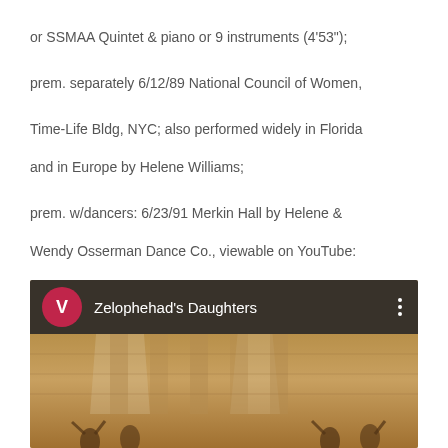or SSMAA Quintet & piano or 9 instruments (4'53");
prem. separately 6/12/89 National Council of Women,
Time-Life Bldg, NYC; also performed widely in Florida
and in Europe by Helene Williams;
prem. w/dancers: 6/23/91 Merkin Hall by Helene &
Wendy Osserman Dance Co., viewable on YouTube:
[Figure (screenshot): YouTube video thumbnail showing 'Zelophehad's Daughters' with a pink/magenta circular avatar with letter V, a dark header bar, and a stage performance scene with warm golden lighting and dancers below.]